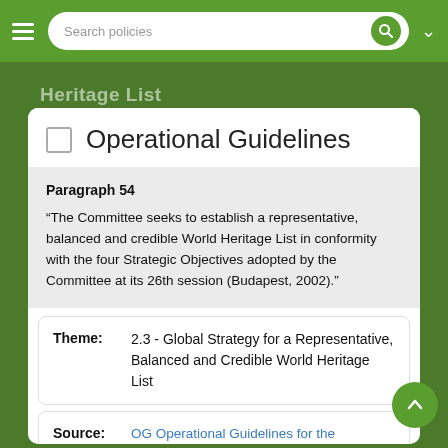Search policies
Heritage List
Operational Guidelines
Paragraph 54
“The Committee seeks to establish a representative, balanced and credible World Heritage List in conformity with the four Strategic Objectives adopted by the Committee at its 26th session (Budapest, 2002).”
Theme: 2.3 - Global Strategy for a Representative, Balanced and Credible World Heritage List
Source: OG Operational Guidelines for the Implementation of the World Heritage Convention (WHC.19/01 July 2019)